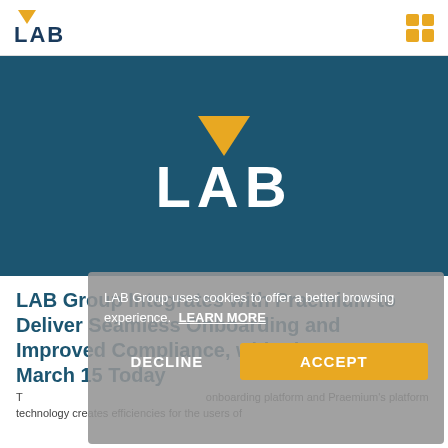[Figure (logo): LAB Group logo with inverted yellow triangle above bold navy LAB text, in top navigation bar]
[Figure (logo): LAB Group hero banner — dark teal background with large white LAB text and yellow inverted triangle above it]
LAB Group Integrates with Praemium to Deliver Seamless Onboarding and Improved Compliance, with First Use at March 15 Today
The partnership between LAB Group's onboarding platform and Praemium's platform technology creates efficiencies for the users of
LAB Group uses cookies to offer a better browsing experience. LEARN MORE
DECLINE
ACCEPT